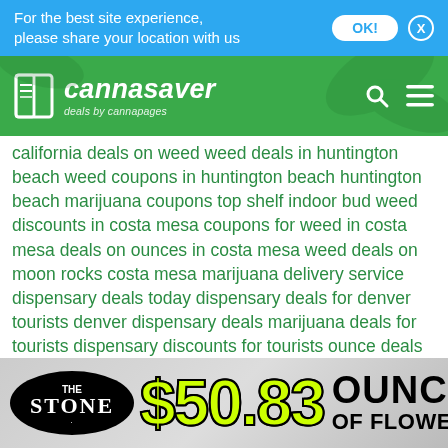For the best site experience, please share your location with us
[Figure (logo): Cannasaver logo with green header bar showing book icon, 'cannasaver' brand name, 'deals by cannapages' subtitle, search icon and menu icon]
california deals on weed weed deals in huntington beach weed coupons in huntington beach huntington beach marijuana coupons top shelf indoor bud weed discounts in costa mesa coupons for weed in costa mesa deals on ounces in costa mesa weed deals on moon rocks costa mesa marijuana delivery service dispensary deals today dispensary deals for denver tourists denver dispensary deals marijuana deals for tourists dispensary discounts for tourists ounce deals in colorado springs co springs dispensary weed deals colorado springs medical marijuana coupons deals on weed in colorado springs discounts on marijuana in colorado springs lake forest california lake forest ftn deals lake forest top shelf deals
[Figure (other): Advertisement banner for The Stone dispensary showing '$50.83 OUNCE OF FLOWER' deal with black oval logo and green/lime price text]